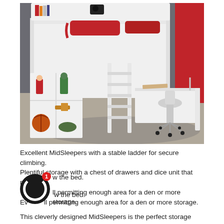[Figure (photo): A white children's mid-sleeper bed with built-in storage shelves on the left side containing toys (action figures, basketball, plane), a ladder in the middle, a pull-out desk on the right with a white office chair on wheels, and a bookshelf headboard. Red cushions and pillows are on the bed. Red curtains and a red desk lamp are visible in the background. The floor has grey flooring with a shaggy rug.]
Excellent MidSleepers with a stable ladder for secure climbing.
Plentiful storage with a chest of drawers and dice unit that match snugly below the bed.
Even still permitting enough area for a den or more storage.
This cleverly designed MidSleepers is the perfect storage answer for